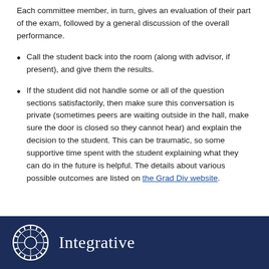Each committee member, in turn, gives an evaluation of their part of the exam, followed by a general discussion of the overall performance.
Call the student back into the room (along with advisor, if present), and give them the results.
If the student did not handle some or all of the question sections satisfactorily, then make sure this conversation is private (sometimes peers are waiting outside in the hall, make sure the door is closed so they cannot hear) and explain the decision to the student. This can be traumatic, so some supportive time spent with the student explaining what they can do in the future is helpful. The details about various possible outcomes are listed on the Grad Div website.
Integrative